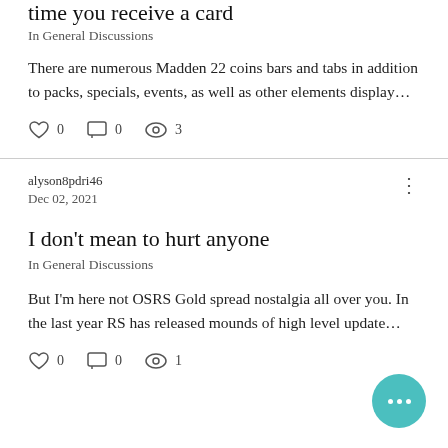time you receive a card
In General Discussions
There are numerous Madden 22 coins bars and tabs in addition to packs, specials, events, as well as other elements display…
0  0  3
alyson8pdri46
Dec 02, 2021
I don't mean to hurt anyone
In General Discussions
But I'm here not OSRS Gold spread nostalgia all over you. In the last year RS has released mounds of high level update…
0  0  1